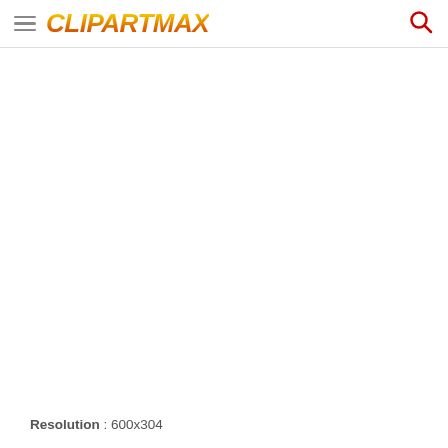ClipartMax [hamburger menu] [search icon]
Resolution  : 600x304